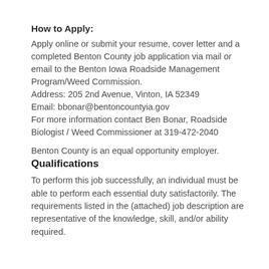How to Apply:
Apply online or submit your resume, cover letter and a completed Benton County job application via mail or email to the Benton Iowa Roadside Management Program/Weed Commission.
Address: 205 2nd Avenue, Vinton, IA 52349
Email: bbonar@bentoncountyia.gov
For more information contact Ben Bonar, Roadside Biologist / Weed Commissioner at 319-472-2040
Benton County is an equal opportunity employer.
Qualifications
To perform this job successfully, an individual must be able to perform each essential duty satisfactorily. The requirements listed in the (attached) job description are representative of the knowledge, skill, and/or ability required.